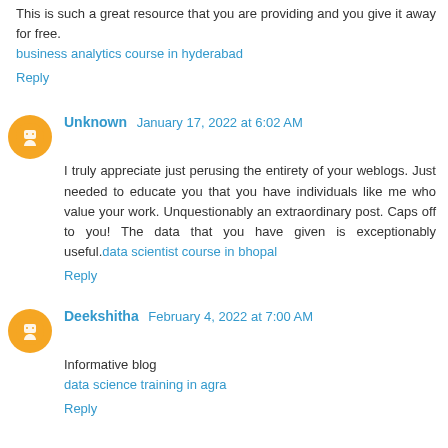This is such a great resource that you are providing and you give it away for free. business analytics course in hyderabad
Reply
Unknown January 17, 2022 at 6:02 AM
I truly appreciate just perusing the entirety of your weblogs. Just needed to educate you that you have individuals like me who value your work. Unquestionably an extraordinary post. Caps off to you! The data that you have given is exceptionably useful.data scientist course in bhopal
Reply
Deekshitha February 4, 2022 at 7:00 AM
Informative blog data science training in agra
Reply